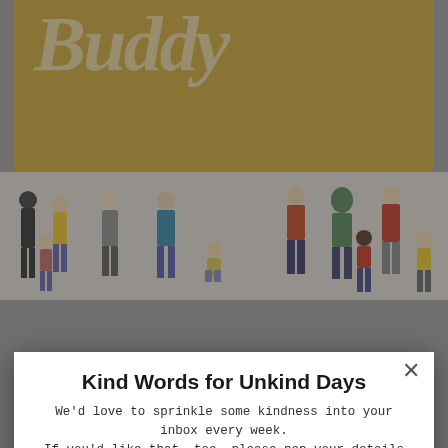[Figure (screenshot): Website popup modal for 'Buddy' newsletter subscription from the Blurt Foundation, overlaid on a webpage background showing illustrated characters. The popup title reads 'Kind Words for Unkind Days' with email subscription form fields, a Subscribe button, and GDPR consent text. Background shows TEDx and BBC Radio 2 logos.]
Kind Words for Unkind Days
We'd love to sprinkle some kindness into your inbox every week. If you'd like that, too, please pop your details below.
Enter your First Name
Enter your Email
Subscribe
GDPR: The Blurt Foundation will use the information you provide to send you weekly Kind Words for Unkind Days emails, and information about our products and services. Please tick the box if you agree with this contact.
You can change your mind any time, click 'unsubscribe' on any email from us, or email: info@blurtitout.org By subscribing you agree that we may process your information according to these terms. For more information on privacy, please visit our website.
AS SEEN IN
POWERED BY SUMO
[Figure (logo): TEDx logo in red]
[Figure (logo): BBC Radio 2 logo]